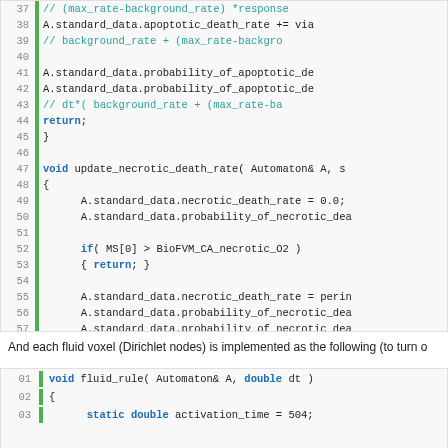[Figure (screenshot): Code block showing lines 37-61 of C++ source code with line numbers, green left bar, function update_necrotic_death_rate and related logic]
And each fluid voxel (Dirichlet nodes) is implemented as the following (to turn o
[Figure (screenshot): Code block showing lines 01-03 of C++ source code: void fluid_rule( Automaton& A, double dt ) function beginning]